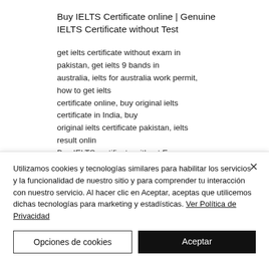Buy IELTS Certificate online | Genuine IELTS Certificate without Test
get ielts certificate without exam in pakistan, get ielts 9 bands in australia, ielts for australia work permit, how to get ielts certificate online, buy original ielts certificate in India, buy original ielts certificate pakistan, ielts result onlin
Buy IELTS certificate without Exam –
Utilizamos cookies y tecnologías similares para habilitar los servicios y la funcionalidad de nuestro sitio y para comprender tu interacción con nuestro servicio. Al hacer clic en Aceptar, aceptas que utilicemos dichas tecnologías para marketing y estadísticas. Ver Política de Privacidad
Opciones de cookies
Aceptar